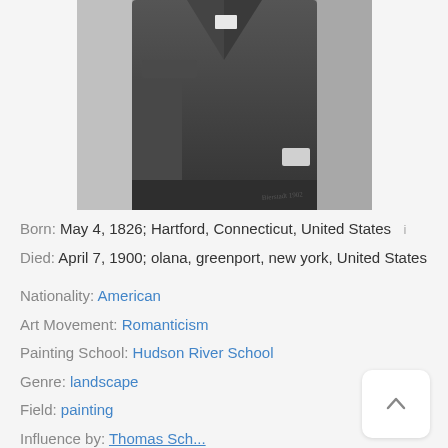[Figure (photo): Black and white historical photograph of a person wearing a long dark coat, partially cropped, showing mainly the torso and lower body.]
Born: May 4, 1826; Hartford, Connecticut, United States
Died: April 7, 1900; olana, greenport, new york, United States
Nationality: American
Art Movement: Romanticism
Painting School: Hudson River School
Genre: landscape
Field: painting